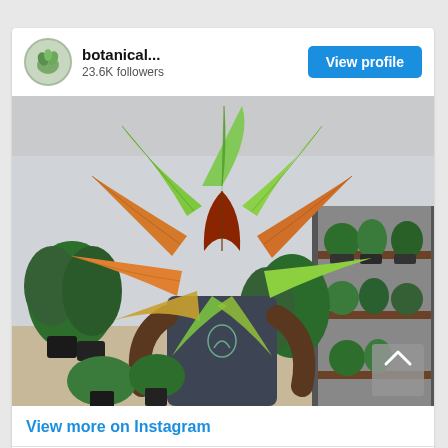botanical...
23.6K followers
View profile
[Figure (photo): Person in a dark apron holding large tropical leaves (philodendron/monstera with orange, red, and green foliage) in front of their face, standing in a plant shop with shelves of potted plants in the background.]
View more on Instagram